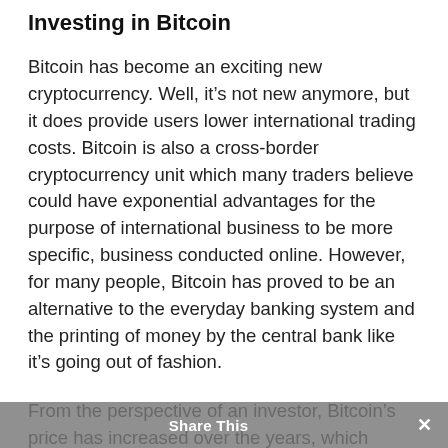Investing in Bitcoin
Bitcoin has become an exciting new cryptocurrency. Well, it’s not new anymore, but it does provide users lower international trading costs. Bitcoin is also a cross-border cryptocurrency unit which many traders believe could have exponential advantages for the purpose of international business to be more specific, business conducted online. However, for many people, Bitcoin has proved to be an alternative to the everyday banking system and the printing of money by the central bank like it’s going out of fashion.
From the perspective of an investor, Bitcoin’s price has increased over the years, which means that if you owned Bitcoins, you would have beaten other
Share This ×